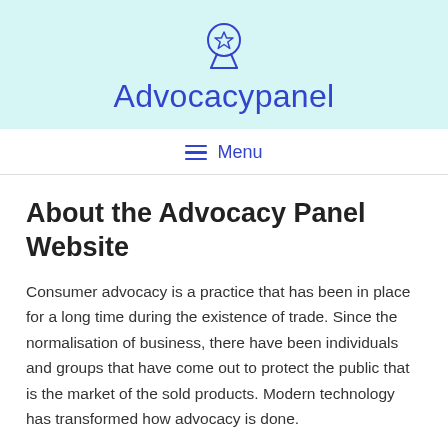Advocacypanel
About the Advocacy Panel Website
Consumer advocacy is a practice that has been in place for a long time during the existence of trade. Since the normalisation of business, there have been individuals and groups that have come out to protect the public that is the market of the sold products. Modern technology has transformed how advocacy is done.